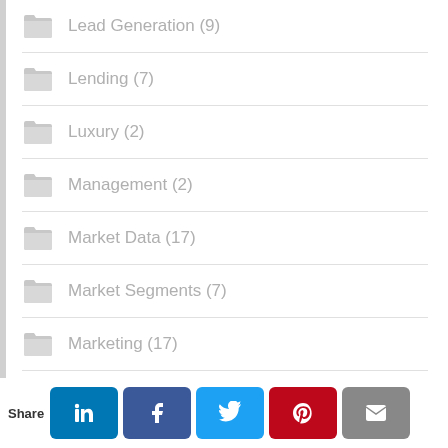Lead Generation (9)
Lending (7)
Luxury (2)
Management (2)
Market Data (17)
Market Segments (7)
Marketing (17)
Negotiation (3)
News (7)
Office Operations (3)
Open Houses (6)